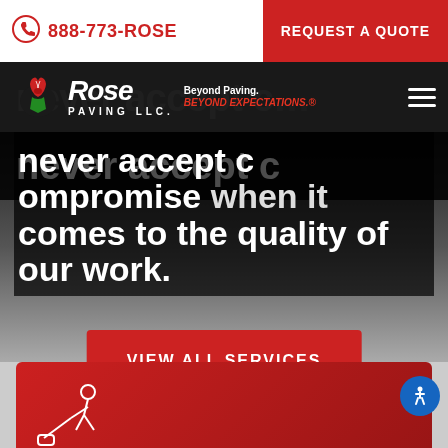888-773-ROSE | REQUEST A QUOTE
[Figure (logo): Rose Paving LLC logo with rose graphic. Text: Rose PAVING LLC. Beyond Paving. BEYOND EXPECTATIONS.]
never accept compromise when it comes to the quality of our work.
VIEW ALL SERVICES
Sealcoating
Extends the life of your asphalt with a jet-black finish and wards off the damaging effects of ultraviolet rays.
LEARN MORE